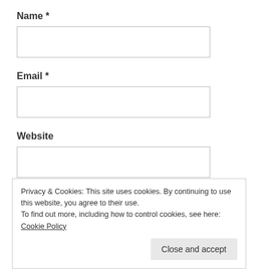Name *
[Figure (other): Empty text input field for Name]
Email *
[Figure (other): Empty text input field for Email]
Website
[Figure (other): Empty text input field for Website]
Save my name, email, and website in this browser for
Privacy & Cookies: This site uses cookies. By continuing to use this website, you agree to their use.
To find out more, including how to control cookies, see here: Cookie Policy
Close and accept